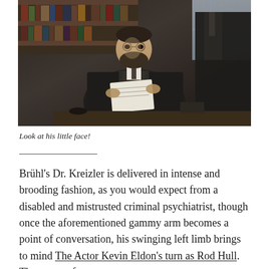[Figure (photo): A man with a beard wearing a dark Victorian-era suit sitting at a desk reading a paper, with bookshelves and period furniture visible in the background, and another person partially visible behind him.]
Look at his little face!
Brühl's Dr. Kreizler is delivered in intense and brooding fashion, as you would expect from a disabled and mistrusted criminal psychiatrist, though once the aforementioned gammy arm becomes a point of conversation, his swinging left limb brings to mind The Actor Kevin Eldon's turn as Rod Hull. The cast perform well (I wonder if Michael I… said he'll do…)